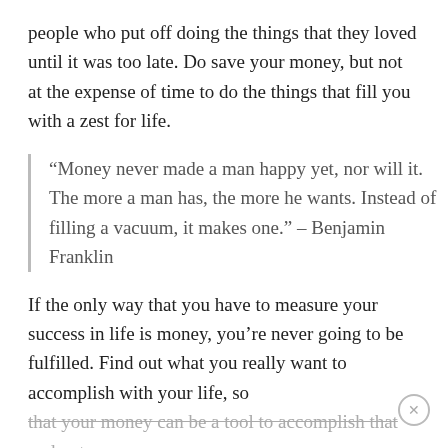people who put off doing the things that they loved until it was too late. Do save your money, but not at the expense of time to do the things that fill you with a zest for life.
“Money never made a man happy yet, nor will it. The more a man has, the more he wants. Instead of filling a vacuum, it makes one.” – Benjamin Franklin
If the only way that you have to measure your success in life is money, you’re never going to be fulfilled. Find out what you really want to accomplish with your life, so that your money can be a tool to accomplish that and not the goal in and of itself.